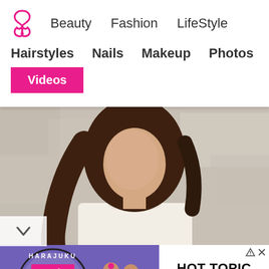Beauty  Fashion  LifeStyle
Hairstyles  Nails  Makeup  Photos
Videos
[Figure (photo): Young woman with long brown hair wearing a white lace blouse, photographed against a textured grey wall]
[Figure (photo): Advertisement for Hot Topic featuring Harajuku Collective branding with two girls in Japanese-inspired fashion. Text reads: HOT TOPIC, SHOP NOW, © STUDIO GHIBLI]